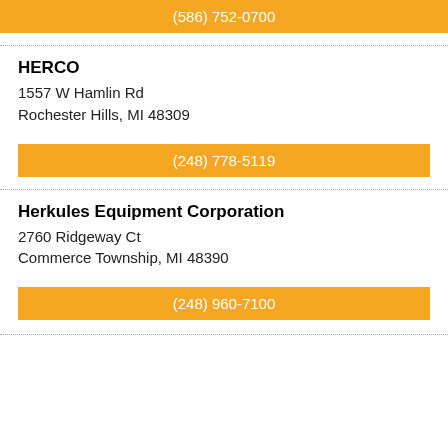(586) 752-0700
HERCO
1557 W Hamlin Rd
Rochester Hills, MI 48309
(248) 778-5119
Herkules Equipment Corporation
2760 Ridgeway Ct
Commerce Township, MI 48390
(248) 960-7100